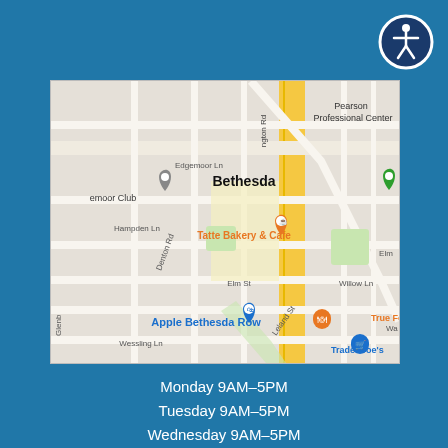[Figure (map): Google Maps view of Bethesda Row area showing Apple Bethesda Row location, Tatte Bakery & Cafe, True Food, Trader Joe's, Pearson Professional Center, with surrounding streets including Elm St, Hampden Ln, Denton Rd, Wessling Ln, Willow Ln, and Edgemoor Ln.]
Monday 9AM–5PM
Tuesday 9AM–5PM
Wednesday 9AM–5PM
Thursday 9AM–5PM
Friday 9AM–5PM